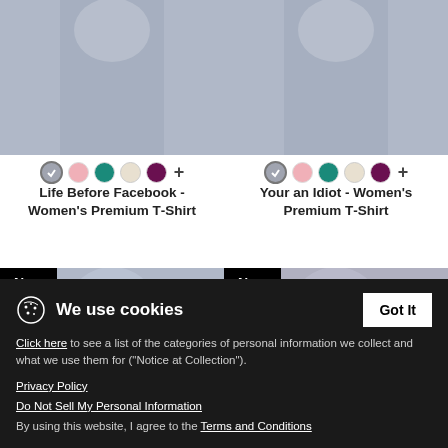[Figure (photo): Two women's T-shirts product photos in a 2x2 grid. Top row: 'Life Before Facebook' and 'Your an Idiot' shirts. Bottom row: 'Hello' and 'Dragging Ass' shirts, both with New badges.]
Life Before Facebook - Women's Premium T-Shirt
Your an Idiot - Women's Premium T-Shirt
Hello - Women's Premium T-Shirt
Dragging Ass - Women's
We use cookies
Click here to see a list of the categories of personal information we collect and what we use them for ("Notice at Collection").
Privacy Policy
Do Not Sell My Personal Information
By using this website, I agree to the Terms and Conditions